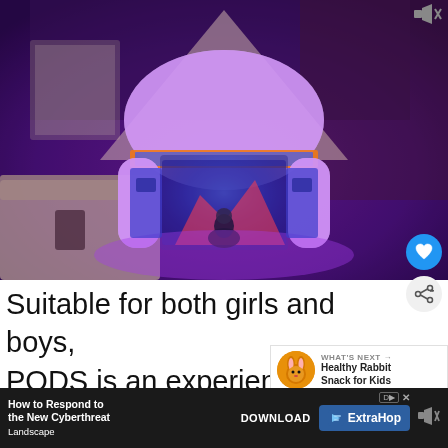[Figure (photo): A child sitting inside a glowing purple inflatable play pod/tent structure in a bedroom. The pod has colorful LED lighting with purple/pink glow. The room has a bed visible on the left side.]
Suitable for both girls and boys, PODS is an experiential pro… that will keep children safe and…
[Figure (infographic): WHAT'S NEXT arrow label with a rabbit mascot icon and text: Healthy Rabbit Snack for Kids]
[Figure (infographic): Advertisement banner: How to Respond to the New Cyberthreat Landscape — DOWNLOAD — ExtraHop]